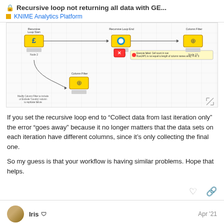🔒 Recursive loop not returning all data with GE...
KNIME Analytics Platform
[Figure (screenshot): KNIME workflow screenshot showing Recursive Loop Start, Recursive Loop End, and Column Filter nodes connected. A red error node (Node 12) is visible with tooltip: 'Execute failed: Cell count in row RowJAP1 is not equal to length of column names array: 4 vs. 3'. A second Column Filter node at bottom left with label 'Modify Column Filter to include or Exclude Country column to replicate failure'.]
If you set the recursive loop end to “Collect data from last iteration only” the error “goes away” because it no longer matters that the data sets on each iteration have different columns, since it’s only collecting the final one.
So my guess is that your workflow is having similar problems. Hope that helps.
Iris  Apr '21